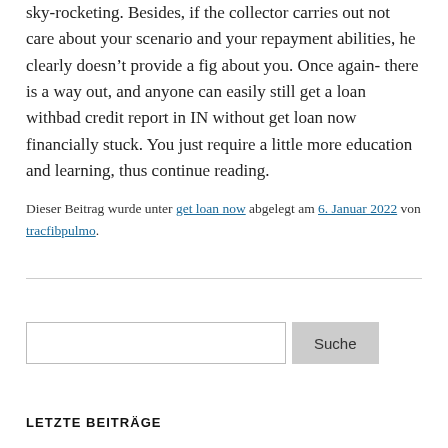sky-rocketing. Besides, if the collector carries out not care about your scenario and your repayment abilities, he clearly doesn't provide a fig about you. Once again- there is a way out, and anyone can easily still get a loan withbad credit report in IN without get loan now financially stuck. You just require a little more education and learning, thus continue reading.
Dieser Beitrag wurde unter get loan now abgelegt am 6. Januar 2022 von tracfibpulmo.
Suche (search input)
LETZTE BEITRÄGE